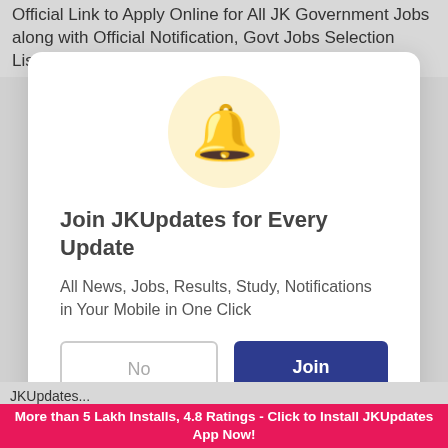Official Link to Apply Online for All JK Government Jobs along with Official Notification, Govt Jobs Selection Lists, Govt
[Figure (screenshot): Modal popup card with a bell notification icon, title 'Join JKUpdates for Every Update', description text, and two buttons: No and Join]
Join JKUpdates for Every Update
All News, Jobs, Results, Study, Notifications in Your Mobile in One Click
Powered by Feedify
JKUpdates...
More than 5 Lakh Installs, 4.8 Ratings - Click to Install JKUpdates App Now!